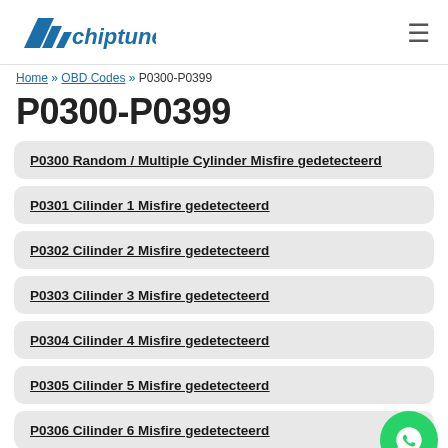chiptuneRS.nl
Home » OBD Codes » P0300-P0399
P0300-P0399
P0300 Random / Multiple Cylinder Misfire gedetecteerd
P0301 Cilinder 1 Misfire gedetecteerd
P0302 Cilinder 2 Misfire gedetecteerd
P0303 Cilinder 3 Misfire gedetecteerd
P0304 Cilinder 4 Misfire gedetecteerd
P0305 Cilinder 5 Misfire gedetecteerd
P0306 Cilinder 6 Misfire gedetecteerd